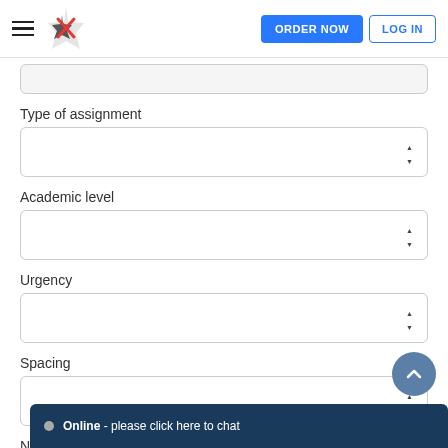ORDER NOW | LOG IN
Type of assignment
[Figure (screenshot): Dropdown select box for Type of assignment]
Academic level
[Figure (screenshot): Dropdown select box for Academic level]
Urgency
[Figure (screenshot): Dropdown select box for Urgency]
Spacing
[Figure (screenshot): Dropdown select box for Spacing]
Number of pages*
[Figure (screenshot): Input box for Number of pages (partially visible)]
Online - please click here to chat